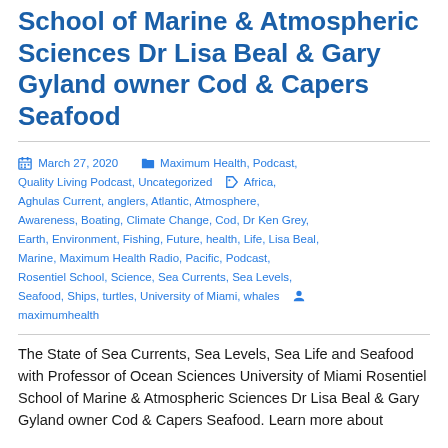School of Marine & Atmospheric Sciences Dr Lisa Beal & Gary Gyland owner Cod & Capers Seafood
March 27, 2020   Maximum Health, Podcast, Quality Living Podcast, Uncategorized   Africa, Aghulas Current, anglers, Atlantic, Atmosphere, Awareness, Boating, Climate Change, Cod, Dr Ken Grey, Earth, Environment, Fishing, Future, health, Life, Lisa Beal, Marine, Maximum Health Radio, Pacific, Podcast, Rosentiel School, Science, Sea Currents, Sea Levels, Seafood, Ships, turtles, University of Miami, whales   maximumhealth
The State of Sea Currents, Sea Levels, Sea Life and Seafood with Professor of Ocean Sciences University of Miami Rosentiel School of Marine & Atmospheric Sciences Dr Lisa Beal & Gary Gyland owner Cod & Capers Seafood. Learn more about